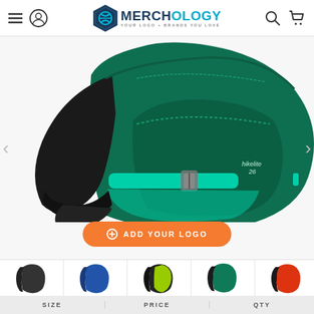Merchology - Your Logo + Brands You Love
[Figure (photo): Close-up product photo of a teal/green Osprey Hikelite 26 backpack showing the bottom portion, straps, and teal accent buckle, on a white background. Orange 'Add Your Logo' button overlaid at bottom.]
[Figure (photo): Color swatch thumbnails for the backpack: black, blue/navy, yellow-green/black, teal/green, orange/red variants.]
| SIZE | PRICE | QTY |
| --- | --- | --- |